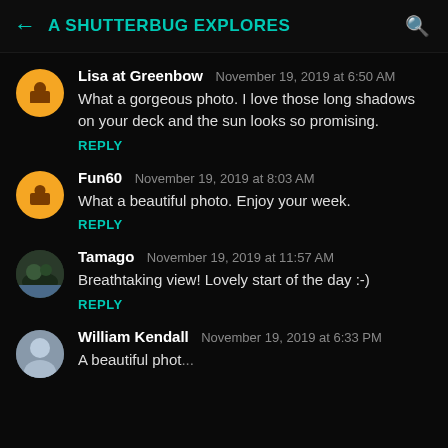← A SHUTTERBUG EXPLORES 🔍
Lisa at Greenbow  November 19, 2019 at 6:50 AM
What a gorgeous photo. I love those long shadows on your deck and the sun looks so promising.
REPLY
Fun60  November 19, 2019 at 8:03 AM
What a beautiful photo. Enjoy your week.
REPLY
Tamago  November 19, 2019 at 11:57 AM
Breathtaking view! Lovely start of the day :-)
REPLY
William Kendall  November 19, 2019 at 6:33 PM
A beautiful phot...